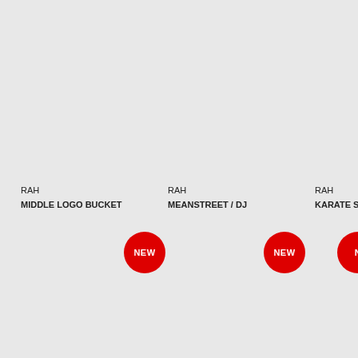RAH
MIDDLE LOGO BUCKET
[Figure (other): Red circular NEW badge]
RAH
MEANSTREET / DJ
[Figure (other): Red circular NEW badge]
RAH
KARATE S/S TEE -Dye
[Figure (other): Red circular NEW badge (partially clipped)]